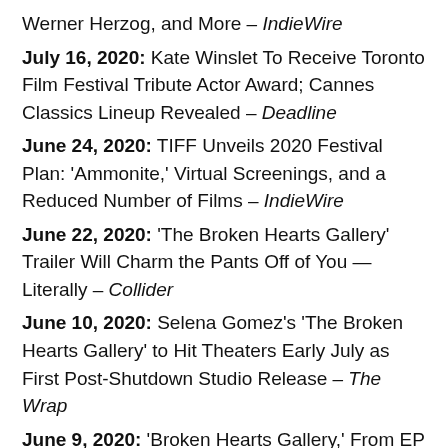Werner Herzog, and More – IndieWire
July 16, 2020: Kate Winslet To Receive Toronto Film Festival Tribute Actor Award; Cannes Classics Lineup Revealed – Deadline
June 24, 2020: TIFF Unveils 2020 Festival Plan: 'Ammonite,' Virtual Screenings, and a Reduced Number of Films – IndieWire
June 22, 2020: 'The Broken Hearts Gallery' Trailer Will Charm the Pants Off of You — Literally – Collider
June 10, 2020: Selena Gomez's 'The Broken Hearts Gallery' to Hit Theaters Early July as First Post-Shutdown Studio Release – The Wrap
June 9, 2020: 'Broken Hearts Gallery,' From EP